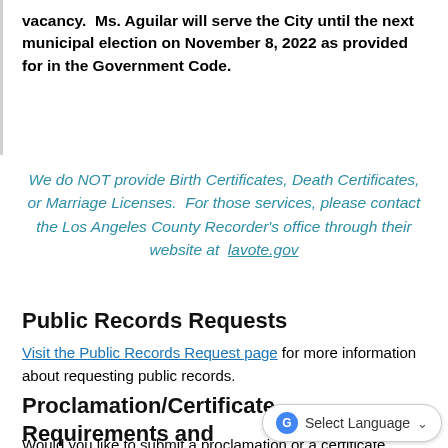vacancy.  Ms. Aguilar will serve the City until the next municipal election on November 8, 2022 as provided for in the Government Code.
We do NOT provide Birth Certificates, Death Certificates, or Marriage Licenses.  For those services, please contact the Los Angeles County Recorder's office through their website at  lavote.gov
Public Records Requests
Visit the Public Records Request page for more information about requesting public records.
Proclamation/Certificate Requirements and Request Form
Would you like to submit a proclamation or a certificate